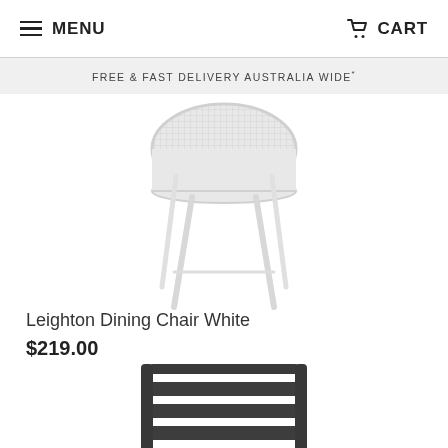MENU   CART
FREE & FAST DELIVERY AUSTRALIA WIDE*
[Figure (photo): White outdoor dining chair (Leighton Dining Chair White) viewed from behind, showing mesh seat and four white legs on a white background.]
Leighton Dining Chair White
$219.00
[Figure (photo): Dark grey/charcoal outdoor dining chair (partially visible) showing horizontal slatted backrest, viewed from a slight angle.]